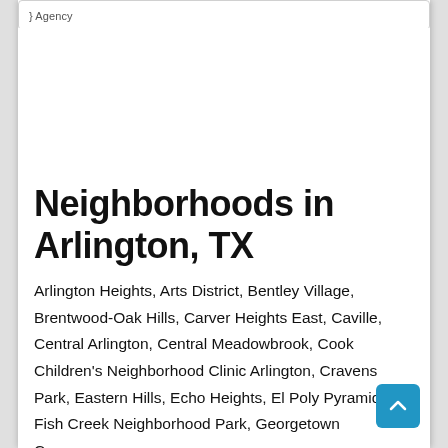} Agency
Neighborhoods in Arlington, TX
Arlington Heights, Arts District, Bentley Village, Brentwood-Oak Hills, Carver Heights East, Caville, Central Arlington, Central Meadowbrook, Cook Children's Neighborhood Clinic Arlington, Cravens Park, Eastern Hills, Echo Heights, El Poly Pyramid, Fish Creek Neighborhood Park, Georgetown Commons